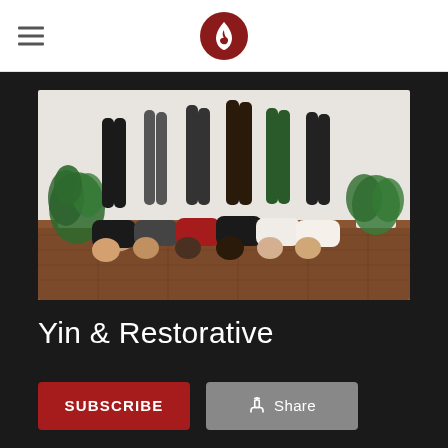Navigation header with hamburger menu and flame logo
[Figure (photo): Group of six people doing viparita karani (legs-up-the-wall pose), lying on a wooden floor with legs raised vertically, with potted plants on either side against a white wall. People wearing various colored workout clothes.]
Yin & Restorative
SUBSCRIBE
Share